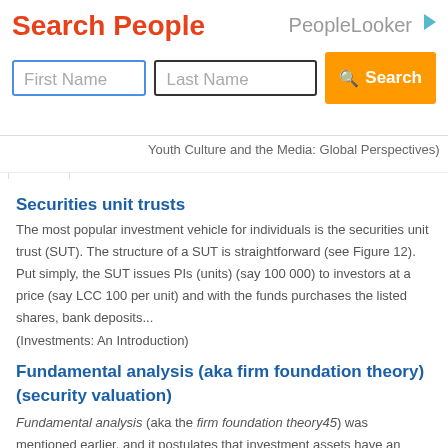[Figure (screenshot): PeopleLooker advertisement banner with Search People title, First Name and Last Name input fields, and orange Search button]
Youth Culture and the Media: Global Perspectives)
Securities unit trusts
The most popular investment vehicle for individuals is the securities unit trust (SUT). The structure of a SUT is straightforward (see Figure 12). Put simply, the SUT issues PIs (units) (say 100 000) to investors at a price (say LCC 100 per unit) and with the funds purchases the listed shares, bank deposits...
(Investments: An Introduction)
Fundamental analysis (aka firm foundation theory) (security valuation)
Fundamental analysis (aka the firm foundation theory45) was mentioned earlier, and it postulates that investment assets have an intrinsic value (i.e. a fair value price - FVP) which is founded on the time value of money (TVM) concept (i.e. interest rates, which is...
(Investments: An Introduction)